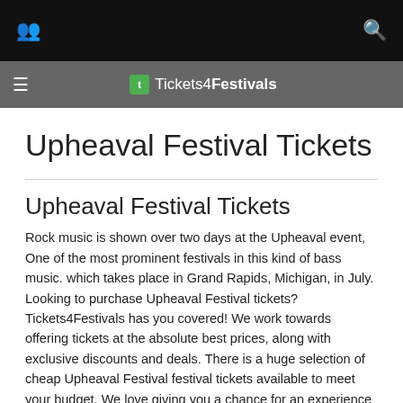Tickets4Festivals
Upheaval Festival Tickets
Upheaval Festival Tickets
Rock music is shown over two days at the Upheaval event, One of the most prominent festivals in this kind of bass music. which takes place in Grand Rapids, Michigan, in July. Looking to purchase Upheaval Festival tickets? Tickets4Festivals has you covered! We work towards offering tickets at the absolute best prices, along with exclusive discounts and deals. There is a huge selection of cheap Upheaval Festival festival tickets available to meet your budget. We love giving you a chance for an experience to make memories that